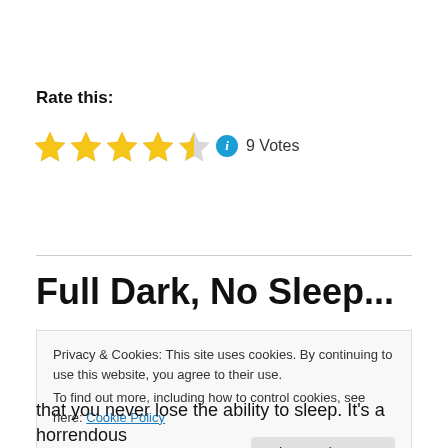Rate this:
[Figure (other): Star rating widget showing 4.5 out of 5 stars (4 full gold stars, 1 half gold star, 1 empty star), an info icon, and text '9 Votes']
November 15, 2011
Full Dark, No Sleep...
Privacy & Cookies: This site uses cookies. By continuing to use this website, you agree to their use.
To find out more, including how to control cookies, see here: Cookie Policy
that you never lose the ability to sleep. It's a horrendous